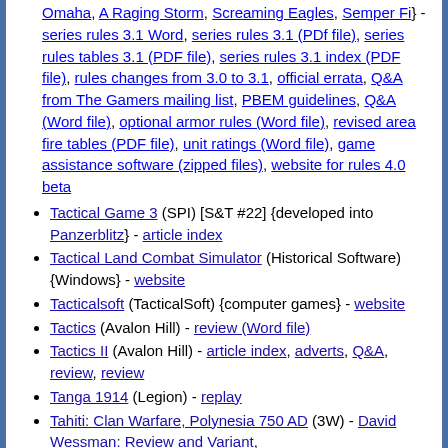Omaha, A Raging Storm, Screaming Eagles, Semper Fi} - series rules 3.1 Word, series rules 3.1 (PDf file), series rules tables 3.1 (PDF file), series rules 3.1 index (PDF file), rules changes from 3.0 to 3.1, official errata, Q&A from The Gamers mailing list, PBEM guidelines, Q&A (Word file), optional armor rules (Word file), revised area fire tables (PDF file), unit ratings (Word file), game assistance software (zipped files), website for rules 4.0 beta
Tactical Game 3 (SPI) [S&T #22] {developed into Panzerblitz} - article index
Tactical Land Combat Simulator (Historical Software) {Windows} - website
Tacticalsoft (TacticalSoft) {computer games} - website
Tactics (Avalon Hill) - review (Word file)
Tactics II (Avalon Hill) - article index, adverts, Q&A, review, review
Tanga 1914 (Legion) - replay
Tahiti: Clan Warfare, Polynesia 750 AD (3W) - David Wessman: Review and Variant,